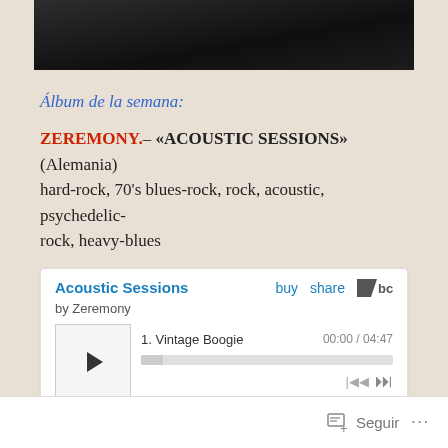[Figure (photo): Dark background photo, likely a guitar or musical instrument, partially visible at top of page]
Álbum de la semana:
ZEREMONY.– «ACOUSTIC SESSIONS» (Alemania) hard-rock, 70's blues-rock, rock, acoustic, psychedelic-rock, heavy-blues
[Figure (screenshot): Bandcamp embedded music player showing 'Acoustic Sessions' by Zeremony. Track 1: Vintage Boogie, time 00:00 / 04:47. Player has play button, progress bar, and skip controls.]
Seguir ...